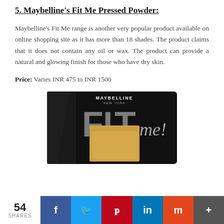5. Maybelline's Fit Me Pressed Powder:
Maybelline's Fit Me range is another very popular product available on online shopping site as it has more than 18 shades. The product claims that it does not contain any oil or wax. The product can provide a natural and glowing finish for those who have dry skin.
Price: Varies INR 475 to INR 1500
[Figure (photo): Maybelline Fit Me Pressed Powder compact product in black packaging with gold/beige powder visible]
54 SHARES | Facebook | Twitter | Pinterest | LinkedIn | Mix | More